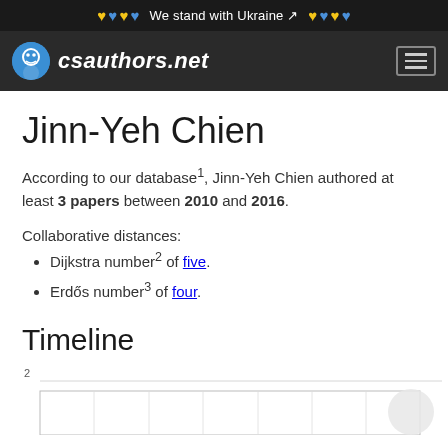We stand with Ukraine
csauthors.net
Jinn-Yeh Chien
According to our database¹, Jinn-Yeh Chien authored at least 3 papers between 2010 and 2016.
Collaborative distances:
Dijkstra number² of five.
Erdős number³ of four.
Timeline
[Figure (bar-chart): Timeline bar chart showing publication years, partially visible, y-axis shows value of 2]